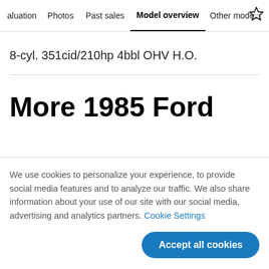aluation  Photos  Past sales  Model overview  Other models
8-cyl. 351cid/210hp 4bbl OHV H.O.
More 1985 Ford
We use cookies to personalize your experience, to provide social media features and to analyze our traffic. We also share information about your use of our site with our social media, advertising and analytics partners. Cookie Settings
Accept all cookies